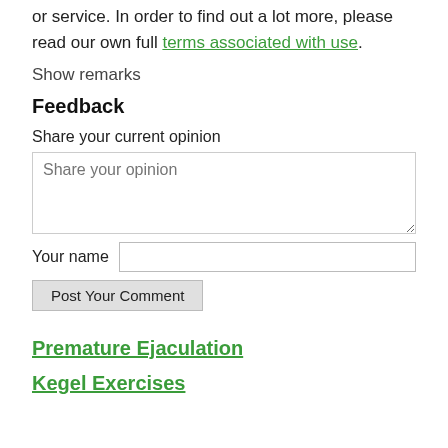or service. In order to find out a lot more, please read our own full terms associated with use.
Show remarks
Feedback
Share your current opinion
Share your opinion
Your name
Post Your Comment
Premature Ejaculation
Kegel Exercises